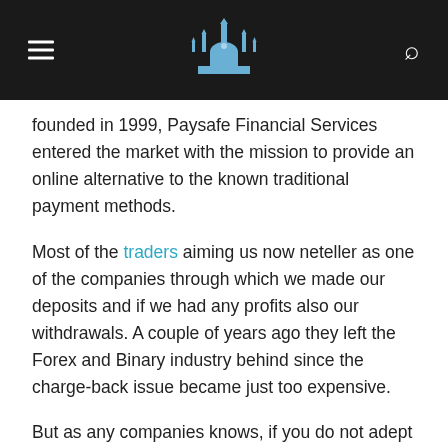[Navigation header with hamburger menu, mosque logo, and search icon]
founded in 1999, Paysafe Financial Services entered the market with the mission to provide an online alternative to the known traditional payment methods.
Most of the traders aiming us now neteller as one of the companies through which we made our deposits and if we had any profits also our withdrawals. A couple of years ago they left the Forex and Binary industry behind since the charge-back issue became just too expensive.
But as any companies knows, if you do not adept you die. The binary option market is all but dead and the Forex industry has moved also into the directions of the cryptocurrencies. thus, neteller understands that this is where the future is.